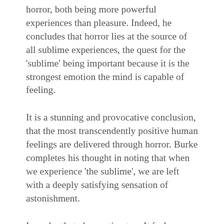horror, both being more powerful experiences than pleasure. Indeed, he concludes that horror lies at the source of all sublime experiences, the quest for the ‘sublime’ being important because it is the strongest emotion the mind is capable of feeling.
It is a stunning and provocative conclusion, that the most transcendently positive human feelings are delivered through horror. Burke completes his thought in noting that when we experience ‘the sublime’, we are left with a deeply satisfying sensation of astonishment.
I ponder that observation too. It feels important. Because astonishment, especially when captured photographically,